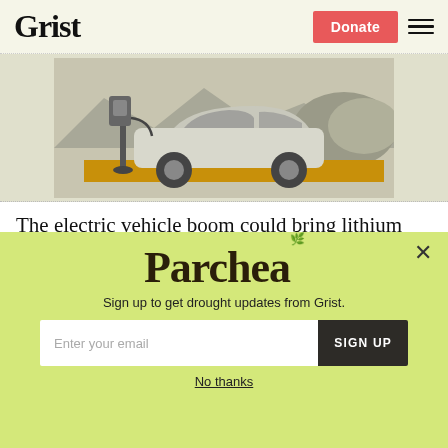Grist | Donate
[Figure (illustration): An electric vehicle plugged into a charging station with a mountain and foliage background in sepia/grayscale tones, with a yellow/gold stripe at the bottom.]
The electric vehicle boom could bring lithium mines back to North Carolina
Blanca Begert
[Figure (other): Parched newsletter signup popup overlay with yellow-green background. Contains 'Parched' logo text, subtitle 'Sign up to get drought updates from Grist.', email input field with placeholder 'Enter your email', a 'SIGN UP' button, a close X button, and a 'No thanks' link.]